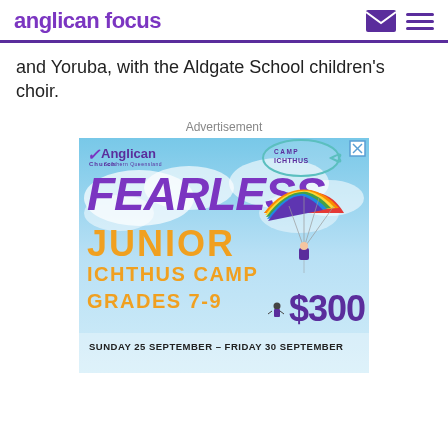anglican focus
and Yoruba, with the Aldgate School children's choir.
Advertisement
[Figure (illustration): Anglican Church Southern Queensland Camp Ichthus advertisement banner. Text reads: FEARLESS JUNIOR ICHTHUS CAMP GRADES 7-9 $300 SUNDAY 25 SEPTEMBER – FRIDAY 30 SEPTEMBER. Features a rainbow parachute and skydiver on a cloudy sky background.]